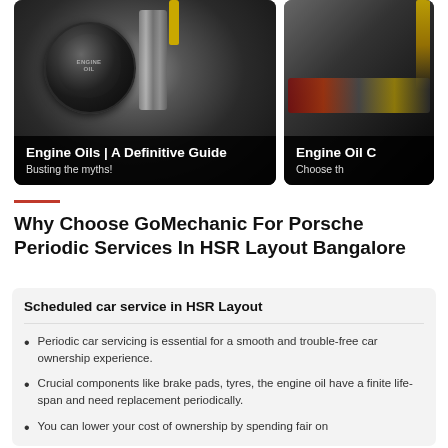[Figure (photo): Engine oil cap close-up photo with text overlay 'Engine Oils | A Definitive Guide' and subtitle 'Busting the myths!']
[Figure (photo): Engine oil being poured, partial card with text overlay 'Engine Oil Ch...' and subtitle 'Choose th...']
Why Choose GoMechanic For Porsche Periodic Services In HSR Layout Bangalore
Scheduled car service in HSR Layout
Periodic car servicing is essential for a smooth and trouble-free car ownership experience.
Crucial components like brake pads, tyres, the engine oil have a finite life-span and need replacement periodically.
You can lower your cost of ownership by spending fair on